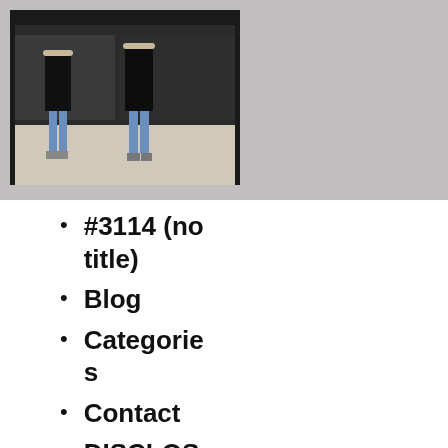[Figure (photo): Two people standing in front of a dark building, photographed from a distance. Image has a gray background banner.]
#3114 (no title)
Blog
Categories
Contact
DISCLOSURE
Home